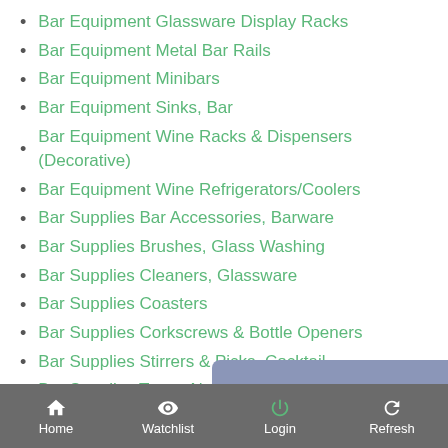Bar Equipment Glassware Display Racks
Bar Equipment Metal Bar Rails
Bar Equipment Minibars
Bar Equipment Sinks, Bar
Bar Equipment Wine Racks & Dispensers (Decorative)
Bar Equipment Wine Refrigerators/Coolers
Bar Supplies Bar Accessories, Barware
Bar Supplies Brushes, Glass Washing
Bar Supplies Cleaners, Glassware
Bar Supplies Coasters
Bar Supplies Corkscrews & Bottle Openers
Bar Supplies Stirrers & Picks, Cocktail
Bar Supplies Trays, Non-Slip Bar
Coffee & Tea Cleaning Compounds, Coffee
Coffee & Tea Coffee Airpots
Coffee & Tea Coffee Brewers & Makers
Home  Watchlist  Login  Refresh